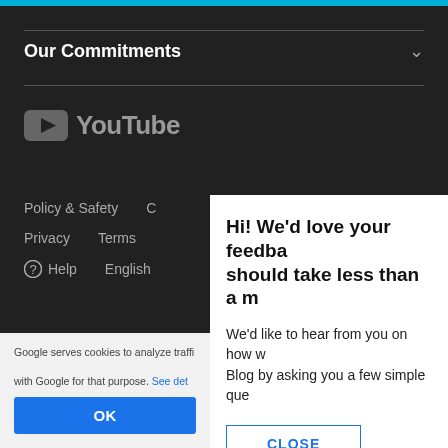[Figure (screenshot): YouTube page screenshot showing dark background with 'Our Commitments' section header, YouTube logo, footer links (Policy & Safety, Privacy, Terms, Help, English), a cookie consent banner with OK button, and a feedback survey modal with CLOSE button]
Our Commitments
[Figure (logo): YouTube logo with play button icon and 'YouTube' text in grey on dark background]
Policy & Safety
Privacy
Terms
Help
English
Google serves cookies to analyze traffic
with Google for that purpose. See det
OK
Hi! We'd love your feedba should take less than a m
We'd like to hear from you on how w Blog by asking you a few simple que
CLOSE